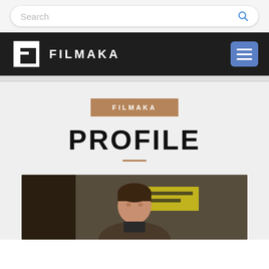Search
[Figure (logo): Filmaka logo with stylized F icon and FILMAKA text in white on dark background, with blue hamburger menu button]
FILMAKA
PROFILE
[Figure (photo): Profile photo of a man with dark hair in a restaurant or bar setting, with yellow signage visible in background]